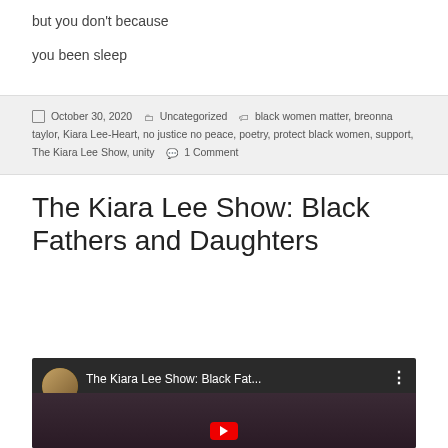but you don't because
you been sleep
October 30, 2020  Uncategorized  black women matter, breonna taylor, Kiara Lee-Heart, no justice no peace, poetry, protect black women, support, The Kiara Lee Show, unity  1 Comment
The Kiara Lee Show: Black Fathers and Daughters
[Figure (screenshot): YouTube video thumbnail showing 'The Kiara Lee Show: Black Fat...' with a circular avatar image on the left, the video title text, a three-dot menu icon, and a scene below showing people at a table with a red play button at the bottom.]